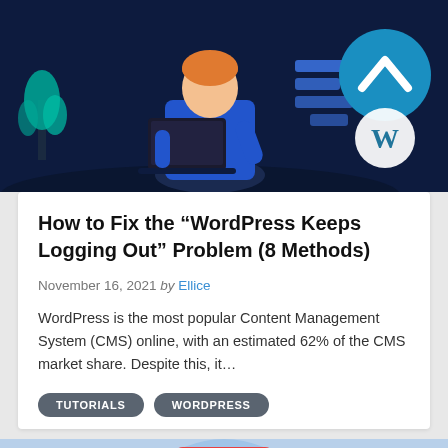[Figure (illustration): Dark blue illustrated banner showing a person with a laptop and WordPress logo with a blue upward-arrow badge in the top-right corner]
How to Fix the “WordPress Keeps Logging Out” Problem (8 Methods)
November 16, 2021 by Ellice
WordPress is the most popular Content Management System (CMS) online, with an estimated 62% of the CMS market share. Despite this, it…
TUTORIALS
WORDPRESS
[Figure (illustration): Light blue illustrated banner showing a person with a megaphone, a mobile app interface with heart icons, partially visible at bottom of page]